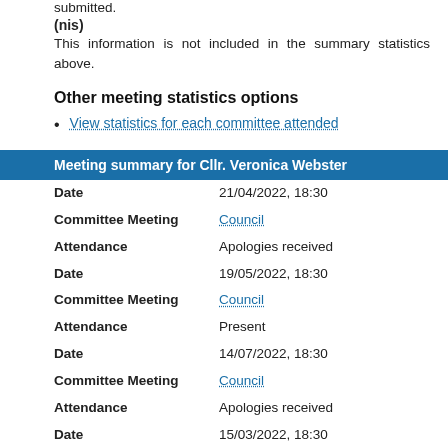submitted.
(nis)
This information is not included in the summary statistics above.
Other meeting statistics options
View statistics for each committee attended
| Field | Value |
| --- | --- |
| Date | 21/04/2022, 18:30 |
| Committee Meeting | Council |
| Attendance | Apologies received |
| Date | 19/05/2022, 18:30 |
| Committee Meeting | Council |
| Attendance | Present |
| Date | 14/07/2022, 18:30 |
| Committee Meeting | Council |
| Attendance | Apologies received |
| Date | 15/03/2022, 18:30 |
| Committee Meeting | Overview and Scrutiny Committee (Children's Services and Safeguarding) |